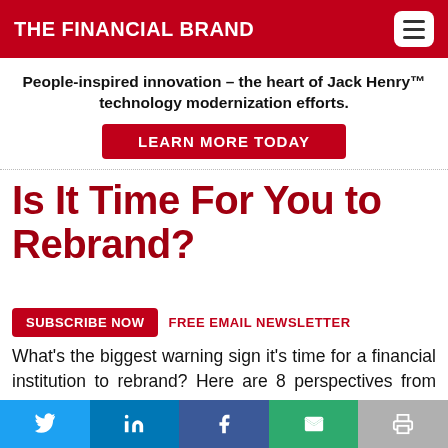THE FINANCIAL BRAND
People-inspired innovation – the heart of Jack Henry™ technology modernization efforts.
LEARN MORE TODAY
Is It Time For You to Rebrand?
SUBSCRIBE NOW   FREE EMAIL NEWSLETTER
What's the biggest warning sign it's time for a financial institution to rebrand? Here are 8 perspectives from around the banking industry.